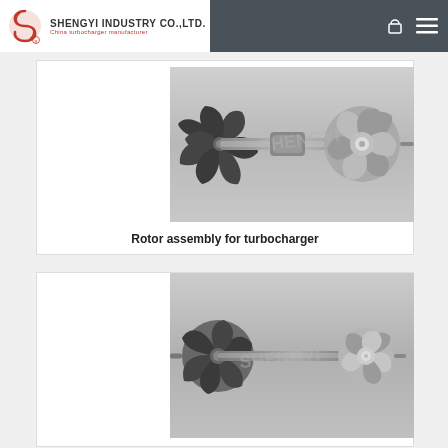SHENGYI INDUSTRY CO.,LTD. — China turbocharger manufacturer
[Figure (photo): Rotor assembly for turbocharger — top view showing compressor wheel on right and turbine wheel on left connected by shaft, with 'SHENGYI' watermark]
Rotor assembly for turbocharger
[Figure (photo): Rotor assembly for turbocharger — second product variant showing smaller compressor wheel on right and turbine wheel on left connected by shaft, with 'SHENGYI' watermark]